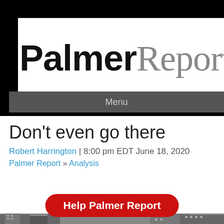[Figure (logo): Palmer Report logo: 'Palmer' in bold black sans-serif and 'Report' in gray serif font on white background]
Menu
Don't even go there
Robert Harrington | 8:00 pm EDT June 18, 2020
Palmer Report » Analysis
Help Palmer Report
[Figure (photo): Black and white photo of urban buildings/cityscape]